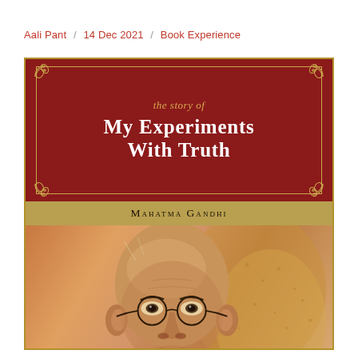Aali Pant / 14 Dec 2021 / Book Experience
[Figure (illustration): Book cover of 'The Story of My Experiments with Truth' by Mahatma Gandhi. Red background at top with gold decorative border and corner flourishes. Title in white serif font. Author name 'Mahatma Gandhi' in small caps on a gold/tan band. Bottom portion shows an illustrated portrait of Mahatma Gandhi with round glasses against a warm ochre/orange background.]